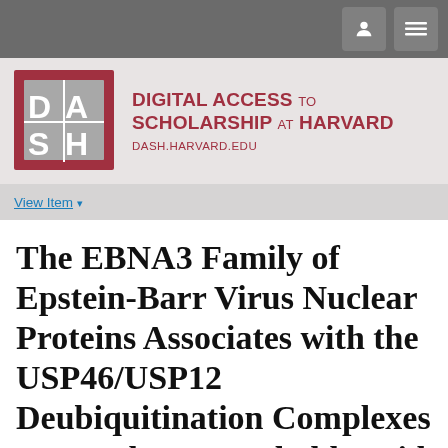[Figure (logo): DASH - Digital Access to Scholarship at Harvard logo with navigation buttons]
View Item ▾
The EBNA3 Family of Epstein-Barr Virus Nuclear Proteins Associates with the USP46/USP12 Deubiquitination Complexes to Regulate Lymphoblastoid Cell Line Growth